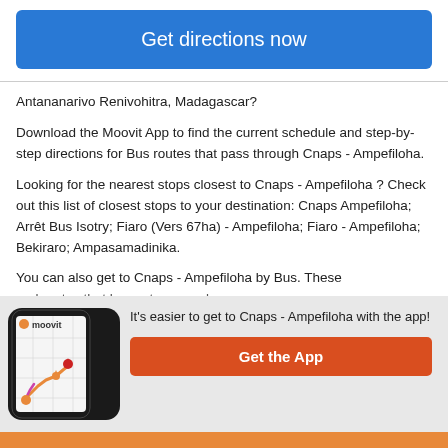Get directions now
Antananarivo Renivohitra, Madagascar?
Download the Moovit App to find the current schedule and step-by-step directions for Bus routes that pass through Cnaps - Ampefiloha.
Looking for the nearest stops closest to Cnaps - Ampefiloha ? Check out this list of closest stops to your destination: Cnaps Ampefiloha; Arrêt Bus Isotry; Fiaro (Vers 67ha) - Ampefiloha; Fiaro - Ampefiloha; Bekiraro; Ampasamadinika.
You can also get to Cnaps - Ampefiloha by Bus. These and routes that have stops nearby
[Figure (screenshot): Moovit app screenshot showing a route on a phone screen with orange route line and location pins, with moovit logo]
It's easier to get to Cnaps - Ampefiloha with the app!
Get the App